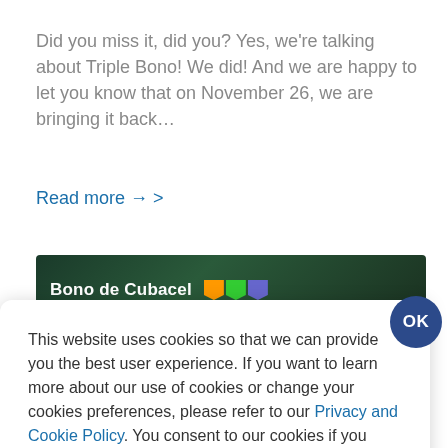Did you miss it, did you? Yes, we’re talking about Triple Bono! We did! And we are happy to let you know that on November 26, we are bringing it back…
Read more → >
[Figure (screenshot): Banner image with dark green background showing 'Bono de Cubacel' text with colorful icons]
This website uses cookies so that we can provide you the best user experience. If you want to learn more about our use of cookies or change your cookies preferences, please refer to our Privacy and Cookie Policy. You consent to our cookies if you continue to use our website.